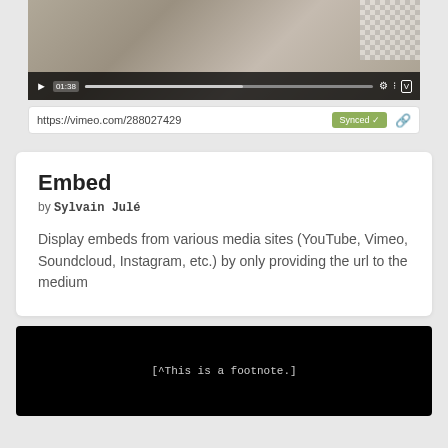[Figure (screenshot): Video player showing a rocky/stone texture background with play controls bar at the bottom including play button, timestamp 01:38, progress bar, and Vimeo controls. Below the player is a URL bar showing https://vimeo.com/288027429 with a green Synced button and a link icon.]
Embed
by Sylvain Julé
Display embeds from various media sites (YouTube, Vimeo, Soundcloud, Instagram, etc.) by only providing the url to the medium
[Figure (screenshot): Black terminal/code area showing the text: [^This is a footnote.]]